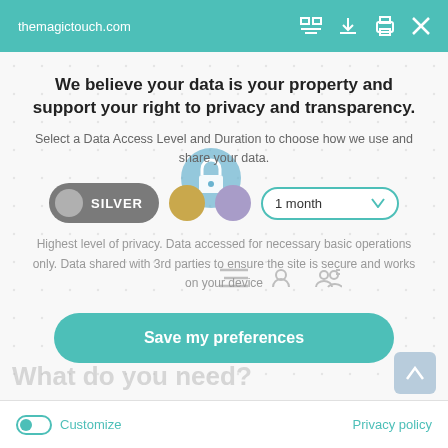themagictouch.com
We believe your data is your property and support your right to privacy and transparency.
Select a Data Access Level and Duration to choose how we use and share your data.
SILVER  •  1 month
Highest level of privacy. Data accessed for necessary basic operations only. Data shared with 3rd parties to ensure the site is secure and works on your device
Save my preferences
What do you need?
Customize
Privacy policy